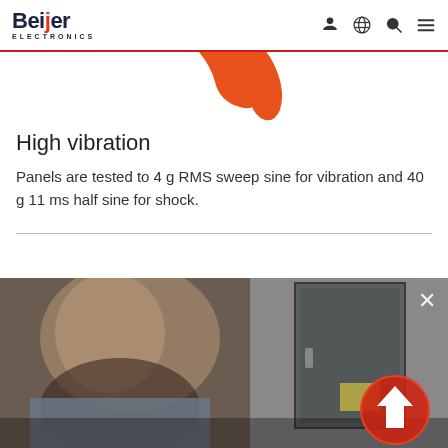Beijer Electronics
[Figure (illustration): Partial orange curved shape/number visible at top of page below nav bar]
High vibration
Panels are tested to 4 g RMS sweep sine for vibration and 40 g 11 ms half sine for shock.
[Figure (photo): Video still showing a man looking down, with a door/cabinet visible in the background. An orange circular arrow icon and white X close button are overlaid on the image.]